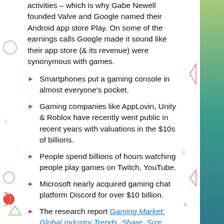activities – which is why Gabe Newell founded Valve and Google named their Android app store Play. On some of the earnings calls Google made it sound like their app store (& its revenue) were synonymous with games.
Smartphones put a gaming console in almost everyone's pocket.
Gaming companies like AppLovin, Unity & Roblox have recently went public in recent years with valuations in the $10s of billions.
People spend billions of hours watching people play games on Twitch, YouTube.
Microsoft nearly acquired gaming chat platform Discord for over $10 billion.
The research report Gaming Market: Global Industry Trends, Share, Size, Growth, Opportunity and Forecast 2021-2026 stated the global